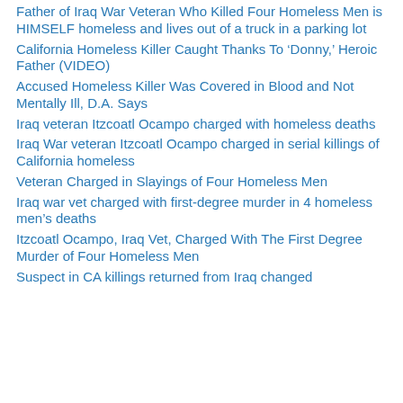Father of Iraq War Veteran Who Killed Four Homeless Men is HIMSELF homeless and lives out of a truck in a parking lot
California Homeless Killer Caught Thanks To ‘Donny,’ Heroic Father (VIDEO)
Accused Homeless Killer Was Covered in Blood and Not Mentally Ill, D.A. Says
Iraq veteran Itzcoatl Ocampo charged with homeless deaths
Iraq War veteran Itzcoatl Ocampo charged in serial killings of California homeless
Veteran Charged in Slayings of Four Homeless Men
Iraq war vet charged with first-degree murder in 4 homeless men’s deaths
Itzcoatl Ocampo, Iraq Vet, Charged With The First Degree Murder of Four Homeless Men
Suspect in CA killings returned from Iraq changed